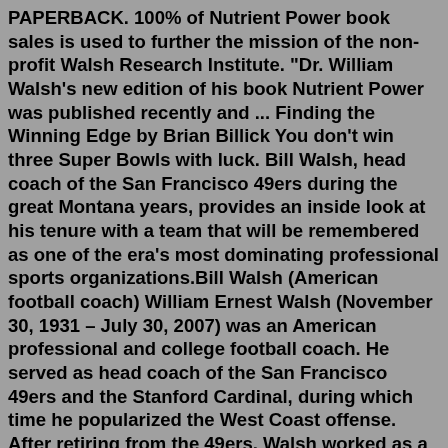PAPERBACK. 100% of Nutrient Power book sales is used to further the mission of the non-profit Walsh Research Institute. "Dr. William Walsh's new edition of his book Nutrient Power was published recently and ... Finding the Winning Edge by Brian Billick You don't win three Super Bowls with luck. Bill Walsh, head coach of the San Francisco 49ers during the great Montana years, provides an inside look at his tenure with a team that will be remembered as one of the era's most dominating professional sports organizations.Bill Walsh (American football coach) William Ernest Walsh (November 30, 1931 – July 30, 2007) was an American professional and college football coach. He served as head coach of the San Francisco 49ers and the Stanford Cardinal, during which time he popularized the West Coast offense. After retiring from the 49ers, Walsh worked as a sports ... Feb 16, 2012 · USA Olympic Coach ('84 - '96) Oregon State University ('05 - '16) Finding the Winning Edge by Brian Billick. You don't win three Super Bowls with luck. Bill Walsh, head coach of the